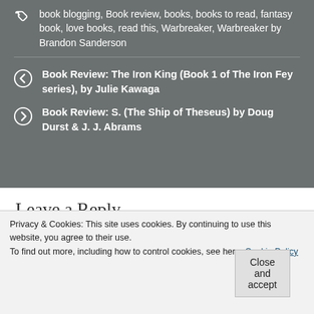book blogging, Book review, books, books to read, fantasy book, love books, read this, Warbreaker, Warbreaker by Brandon Sanderson
Book Review: The Iron King (Book 1 of The Iron Fey series), by Julie Kawaga
Book Review: S. (The Ship of Theseus) by Doug Durst & J. J. Abrams
Leave a Reply
Your email address will not be published. Required
Privacy & Cookies: This site uses cookies. By continuing to use this website, you agree to their use.
To find out more, including how to control cookies, see here: Cookie Policy
Close and accept
Advertisements